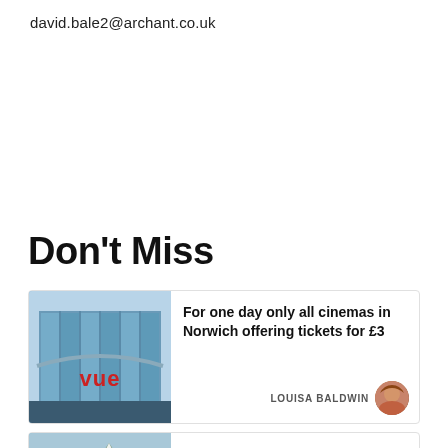david.bale2@archant.co.uk
Don't Miss
[Figure (photo): Vue cinema building exterior with large glass facade and red Vue logo]
For one day only all cinemas in Norwich offering tickets for £3
LOUISA BALDWIN
[Figure (photo): Scenic alpine lake with mountains and trees in background — Swiss lake]
Father-of-two from Norwich dies while swimming in Swiss lake